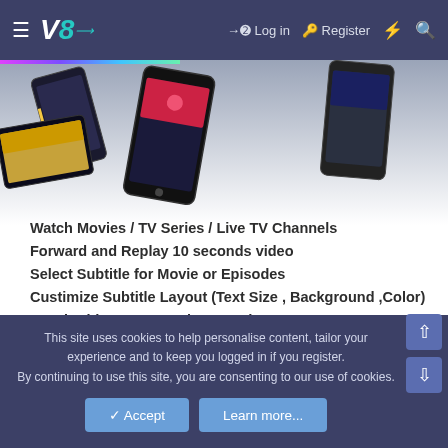≡ V8 → Log in  Register ⚡ 🔍
[Figure (screenshot): Partial view of smartphones/tablets arranged on a light grey-to-white gradient background]
Watch Movies / TV Series / Live TV Channels
Forward and Replay 10 seconds video
Select Subtitle for Movie or Episodes
Custimize Subtitle Layout (Text Size , Background ,Color)
Watch Video On Portrait to Landscape
[Figure (screenshot): Equalizer/waveform decoration in sandy yellow/orange colors above a dark video thumbnail showing a person's face]
This site uses cookies to help personalise content, tailor your experience and to keep you logged in if you register. By continuing to use this site, you are consenting to our use of cookies.
✓ Accept    Learn more...